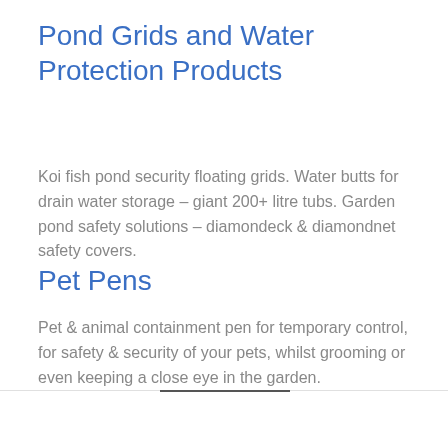Pond Grids and Water Protection Products
Koi fish pond security floating grids. Water butts for drain water storage – giant 200+ litre tubs. Garden pond safety solutions – diamondeck & diamondnet safety covers.
Pet Pens
Pet & animal containment pen for temporary control, for safety & security of your pets, whilst grooming or even keeping a close eye in the garden.